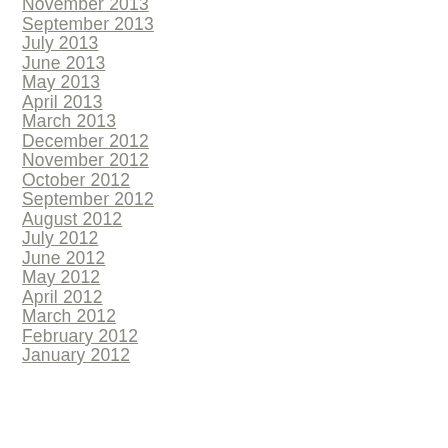November 2013
September 2013
July 2013
June 2013
May 2013
April 2013
March 2013
December 2012
November 2012
October 2012
September 2012
August 2012
July 2012
June 2012
May 2012
April 2012
March 2012
February 2012
January 2012